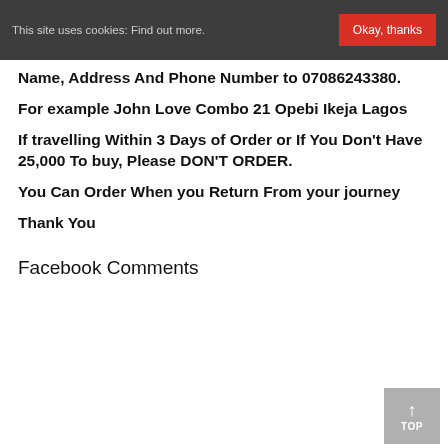This site uses cookies: Find out more. Okay, thanks
Name, Address And Phone Number to 07086243380.
For example John Love Combo 21 Opebi Ikeja Lagos
If travelling Within 3 Days of Order or If You Don't Have 25,000 To buy, Please DON'T ORDER.
You Can Order When you Return From your journey
Thank You
Facebook Comments